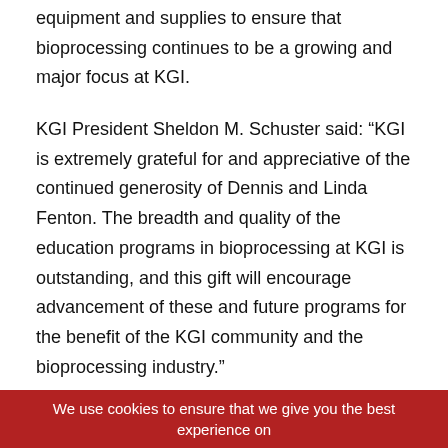equipment and supplies to ensure that bioprocessing continues to be a growing and major focus at KGI.
KGI President Sheldon M. Schuster said: “KGI is extremely grateful for and appreciative of the continued generosity of Dennis and Linda Fenton. The breadth and quality of the education programs in bioprocessing at KGI is outstanding, and this gift will encourage advancement of these and future programs for the benefit of the KGI community and the bioprocessing industry.”
KGI has developed the FBL Center for Research & Training’s strategic plan, which includes the following thematic/programmatic areas:
We use cookies to ensure that we give you the best experience on